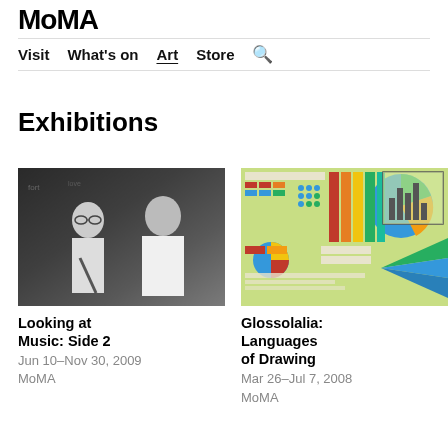MoMA
Visit  What's on  Art  Store  🔍
Exhibitions
[Figure (photo): Black and white photograph of two musicians, a woman with glasses and a man in a white shirt, in what appears to be a music venue]
Looking at Music: Side 2
Jun 10–Nov 30, 2009
MoMA
[Figure (photo): Colorful infographic-style artwork with charts, grids, pie charts, and various colored patterns on a light green background]
Glossolalia: Languages of Drawing
Mar 26–Jul 7, 2008
MoMA